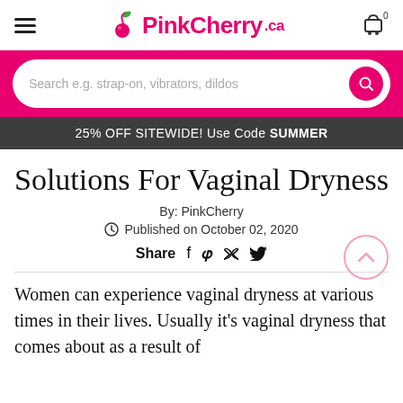PinkCherry.ca
[Figure (screenshot): Search bar with pink background and magnifying glass button, placeholder text: Search e.g. strap-on, vibrators, dildos]
25% OFF SITEWIDE! Use Code SUMMER
Solutions For Vaginal Dryness
By: PinkCherry
Published on October 02, 2020
Share
Women can experience vaginal dryness at various times in their lives. Usually it’s vaginal dryness that comes about as a result of